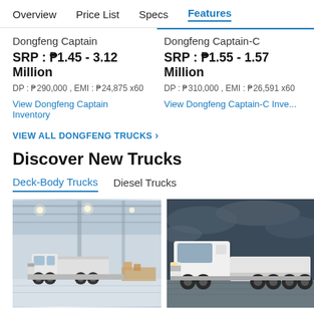Overview  Price List  Specs  Features
Dongfeng Captain
SRP : ₱1.45 - 3.12 Million
DP : ₱290,000 , EMI : ₱24,875 x60
View Dongfeng Captain Inventory
Dongfeng Captain-C
SRP : ₱1.55 - 1.57 Million
DP : ₱310,000 , EMI : ₱26,591 x60
View Dongfeng Captain-C Inve...
VIEW ALL DONGFENG TRUCKS >
Discover New Trucks
Deck-Body Trucks   Diesel Trucks
[Figure (photo): White flatbed/deck-body truck parked inside a modern bright warehouse with industrial ceiling lights]
[Figure (photo): White Dongfeng heavy truck chassis cab parked outdoors against a dramatic cloudy sky]